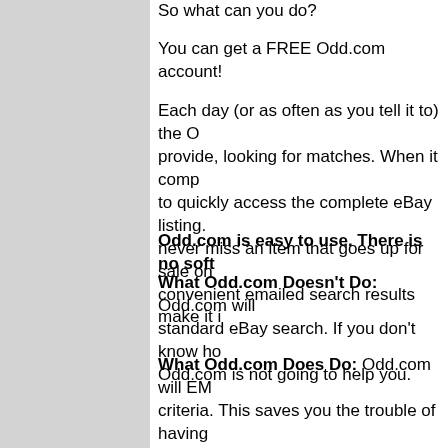So what can you do?
You can get a FREE Odd.com account!
Each day (or as often as you tell it to) the O... provide, looking for matches. When it comp... to quickly access the complete eBay listing. never miss an item that goes up for sale on convenient emailed search results make it i...
Odd.com is easy to use. There is no soft...
What Odd.com Doesn't Do: Odd.com will standard eBay search. If you don't know ho... Odd.com is not going to help you.
What Odd.com Does Do: Odd.com will EM... criteria. This saves you the trouble of having... check your email.
Odd.com's origins date way back to 2001, w... with some customers using it every day to a... miss out on that left-handed smoke shifter (...
If you use eBay,...